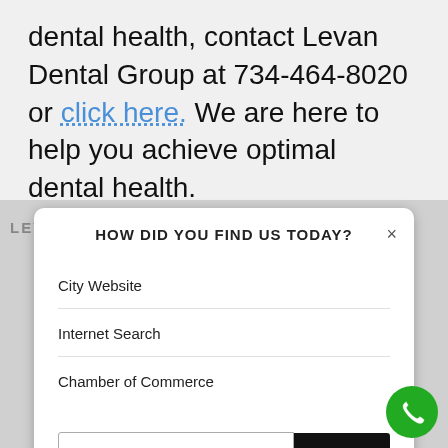dental health, contact Levan Dental Group at 734-464-8020 or click here. We are here to help you achieve optimal dental health.
LEVAN DENTAL GROUP  15405 LEVAN RD
HOW DID YOU FIND US TODAY?
City Website
Internet Search
Chamber of Commerce